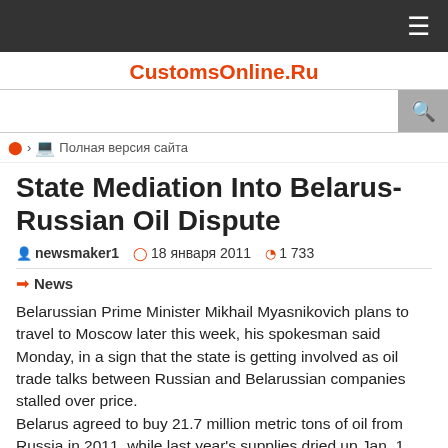CustomsOnline.Ru
Полная версия сайта
State Mediation Into Belarus-Russian Oil Dispute
newsmaker1   18 января 2011   1 733
News
Belarussian Prime Minister Mikhail Myasnikovich plans to travel to Moscow later this week, his spokesman said Monday, in a sign that the state is getting involved as oil trade talks between Russian and Belarussian companies stalled over price.
Belarus agreed to buy 21.7 million metric tons of oil from Russia in 2011, while last year's supplies dried up Jan. 1